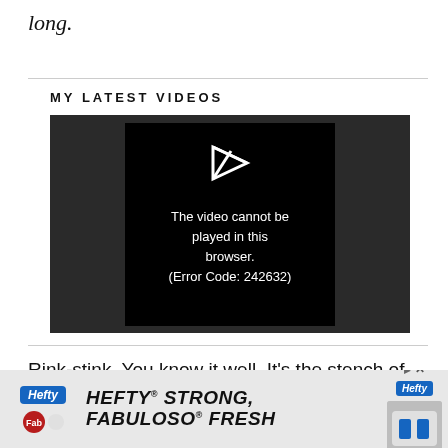long.
MY LATEST VIDEOS
[Figure (screenshot): Video player showing error: 'The video cannot be played in this browser. (Error Code: 242632)']
Rink-stink. You know it well. It's the stench of smelly hockey gear. It's seeping out of your kid's
[Figure (infographic): Advertisement banner: Hefty STRONG, Fabuloso FRESH]